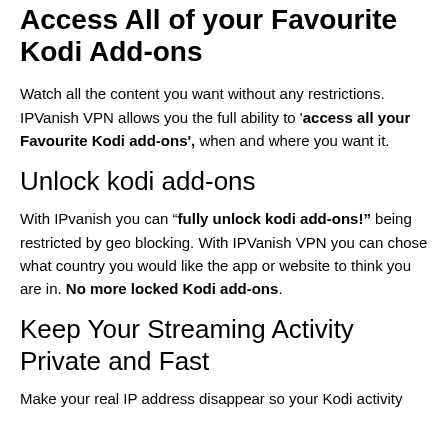Access All of your Favourite Kodi Add-ons
Watch all the content you want without any restrictions. IPVanish VPN allows you the full ability to 'access all your Favourite Kodi add-ons', when and where you want it.
Unlock kodi add-ons
With IPvanish you can "fully unlock kodi add-ons!" being restricted by geo blocking. With IPVanish VPN you can chose what country you would like the app or website to think you are in. No more locked Kodi add-ons.
Keep Your Streaming Activity Private and Fast
Make your real IP address disappear so your Kodi activity